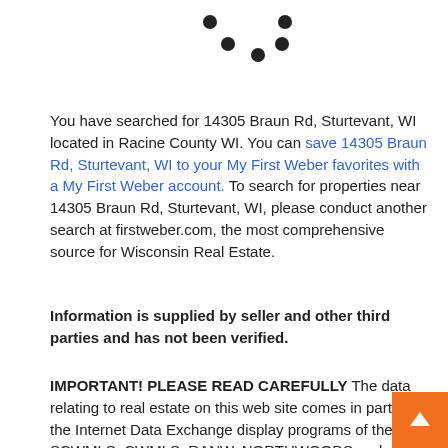[Figure (other): Five decorative dots arranged in a scattered pattern near the top center of the page]
You have searched for 14305 Braun Rd, Sturtevant, WI located in Racine County WI. You can save 14305 Braun Rd, Sturtevant, WI to your My First Weber favorites with a My First Weber account. To search for properties near 14305 Braun Rd, Sturtevant, WI, please conduct another search at firstweber.com, the most comprehensive source for Wisconsin Real Estate.
Information is supplied by seller and other third parties and has not been verified.
IMPORTANT! PLEASE READ CAREFULLY The data relating to real estate on this web site comes in part from the Internet Data Exchange display programs of the SCWMLS, CWMLS, RANW, NORTHWOODS and METRO MLS. Real Estate listings from SCWMLS held by brokerage firms other than First Weber are marked with the SCWMLS icon and/or include the name of the listing broker. Real Estate listings from CWMLS held by brokerage firms other than First Weber are marked with the CWMLS icon and/or include the name or the listing broker. Real Estate listings from METRO MLS held by brokerage firms other than First Weber include the name of the listing broker.
The material at this site is provide solely for informational purposes